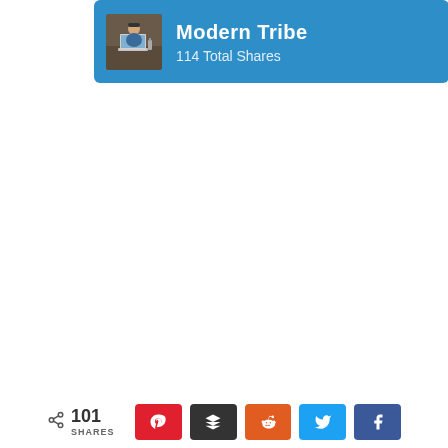[Figure (screenshot): Blue card with thumbnail image of person at laptop and text 'Modern Tribe' and '114 Total Shares']
[Figure (screenshot): Gray 'back to top' button with upward chevron arrow on right edge]
101 SHARES | Pin | Buffer | Reddit | Twitter | Facebook share buttons